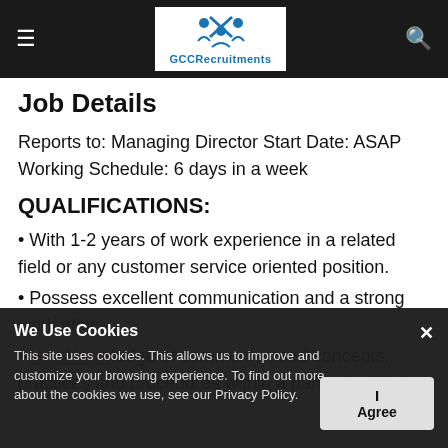GCCRecruitments (navigation bar with logo)
Job Details
Reports to: Managing Director Start Date: ASAP
Working Schedule: 6 days in a week
QUALIFICATIONS:
• With 1-2 years of work experience in a related field or any customer service oriented position.
• Possess excellent communication and [have] a strong work ethic.
• Has Knowledge of commonly-used concepts, practices and procedures within a particular field.
We Use Cookies
This site uses cookies. This allows us to improve and customize your browsing experience. To find out more about the cookies we use, see our Privacy Policy.
[I Agree button]